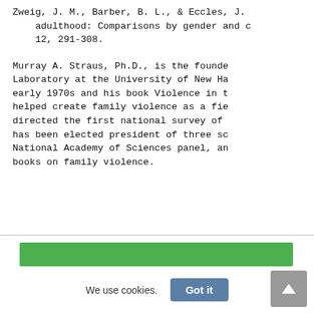Zweig, J. M., Barber, B. L., & Eccles, J. adulthood: Comparisons by gender and c 12, 291-308.
Murray A. Straus, Ph.D., is the founde Laboratory at the University of New Ha early 1970s and his book Violence in t helped create family violence as a fie directed the first national survey of has been elected president of three sc National Academy of Sciences panel, an books on family violence.